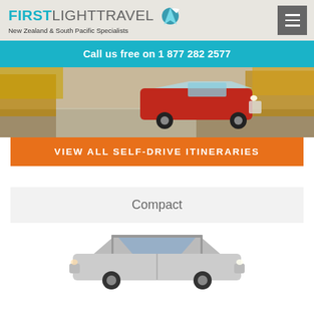FIRSTLIGHTTRAVEL — New Zealand & South Pacific Specialists
Call us free on 1 877 282 2577
[Figure (photo): Red SUV/crossover vehicle parked on a gravel road surrounded by autumn trees]
VIEW ALL SELF-DRIVE ITINERARIES
Compact
[Figure (photo): White compact SUV/hatchback car viewed from front-left angle on white background]